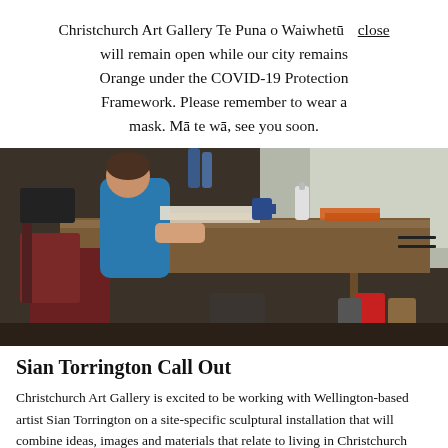Christchurch Art Gallery Te Puna o Waiwhetū close will remain open while our city remains Orange under the COVID-19 Protection Framework. Please remember to wear a mask. Mā te wā, see you soon.
[Figure (photo): An artist sitting at a wooden work desk from behind, wearing a blue top, surrounded by art materials, glue bottles, papers, and cans in a studio-like space with large windows.]
Sian Torrington Call Out
Christchurch Art Gallery is excited to be working with Wellington-based artist Sian Torrington on a site-specific sculptural installation that will combine ideas, images and materials that relate to living in Christchurch now.